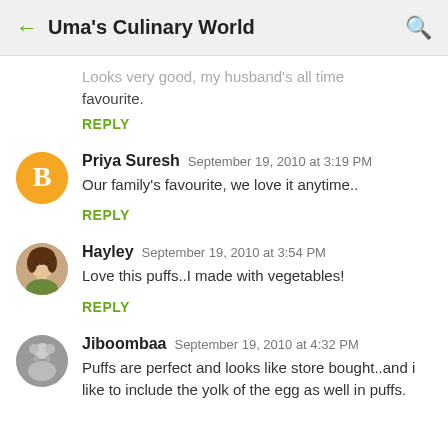Uma's Culinary World
Looks very good, my husband's all time favourite.
REPLY
Priya Suresh  September 19, 2010 at 3:19 PM
Our family's favourite, we love it anytime..
REPLY
Hayley  September 19, 2010 at 3:54 PM
Love this puffs..I made with vegetables!
REPLY
Jiboombaa  September 19, 2010 at 4:32 PM
Puffs are perfect and looks like store bought..and i like to include the yolk of the egg as well in puffs.